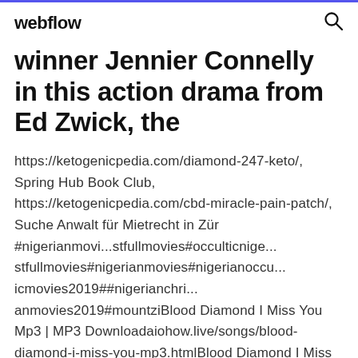webflow
winner Jennier Connelly in this action drama from Ed Zwick, the
https://ketogenicpedia.com/diamond-247-keto/, Spring Hub Book Club, https://ketogenicpedia.com/cbd-miracle-pain-patch/, Suche Anwalt für Mietrecht in Zür #nigerianmovi...stfullmovies#occulticnige... stfullmovies#nigerianmovies#nigerianoccu... icmovies2019##nigerianchri... anmovies2019#mountziBlood Diamond I Miss You Mp3 | MP3 Downloadaiohow.live/songs/blood-diamond-i-miss-you-mp3.htmlBlood Diamond I Miss You Mp3 is popular Free Mp3. You can download or